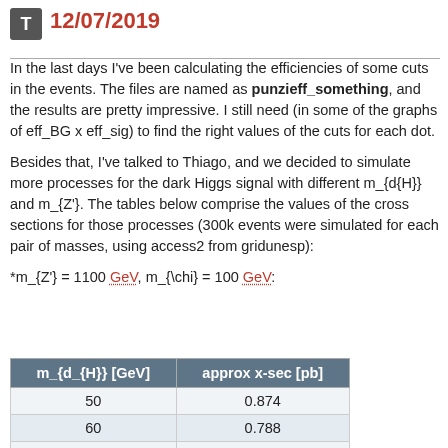12/07/2019
In the last days I've been calculating the efficiencies of some cuts in the events. The files are named as punzieff_something, and the results are pretty impressive. I still need (in some of the graphs of eff_BG x eff_sig) to find the right values of the cuts for each dot.
Besides that, I've talked to Thiago, and we decided to simulate more processes for the dark Higgs signal with different m_{d{H}} and m_{Z'}. The tables below comprise the values of the cross sections for those processes (300k events were simulated for each pair of masses, using access2 from gridunesp):
*m_{Z'} = 1100 GeV, m_{\chi} = 100 GeV:
| m_{d_{H}} [GeV] | approx x-sec [pb] |
| --- | --- |
| 50 | 0.874 |
| 60 | 0.788 |
| 70 | 0.711 |